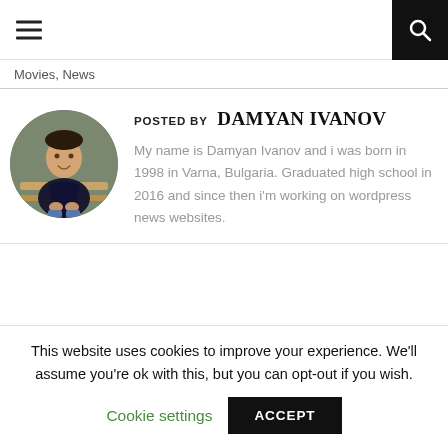≡  🔍
Movies, News
[Figure (photo): Circular profile photo of Damyan Ivanov, a young man in a black jacket sitting on a bench outdoors.]
POSTED BY DAMYAN IVANOV
My name is Damyan Ivanov and i was born in 1998 in Varna, Bulgaria. Graduated high school in 2016 and since then i'm working on wordpress news websites.
This website uses cookies to improve your experience. We'll assume you're ok with this, but you can opt-out if you wish.
Cookie settings   ACCEPT